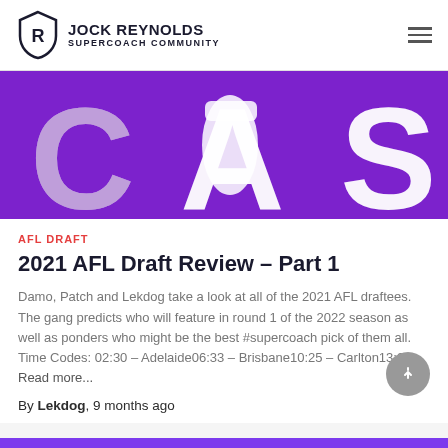JOCK REYNOLDS SUPERCOACH COMMUNITY
[Figure (illustration): Partial banner image with purple background showing large white letters 'CA' and part of another letter, with a fist or hand graphic in the center]
AFL DRAFT
2021 AFL Draft Review – Part 1
Damo, Patch and Lekdog take a look at all of the 2021 AFL draftees. The gang predicts who will feature in round 1 of the 2022 season as well as ponders who might be the best #supercoach pick of them all. Time Codes: 02:30 – Adelaide06:33 – Brisbane10:25 – Carlton13:24 Read more...
By Lekdog, 9 months ago